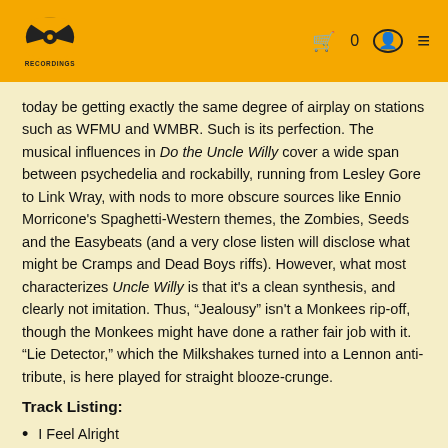ATA Recordings logo and navigation bar
today be getting exactly the same degree of airplay on stations such as WFMU and WMBR. Such is its perfection. The musical influences in Do the Uncle Willy cover a wide span between psychedelia and rockabilly, running from Lesley Gore to Link Wray, with nods to more obscure sources like Ennio Morricone’s Spaghetti-Western themes, the Zombies, Seeds and the Easybeats (and a very close listen will disclose what might be Cramps and Dead Boys riffs). However, what most characterizes Uncle Willy is that it’s a clean synthesis, and clearly not imitation. Thus, “Jealousy” isn’t a Monkees rip-off, though the Monkees might have done a rather fair job with it. “Lie Detector,” which the Milkshakes turned into a Lennon anti-tribute, is here played for straight blooze-crunge.
Track Listing:
I Feel Alright
Heard About Him
Farmer John
Can’t Sit Down